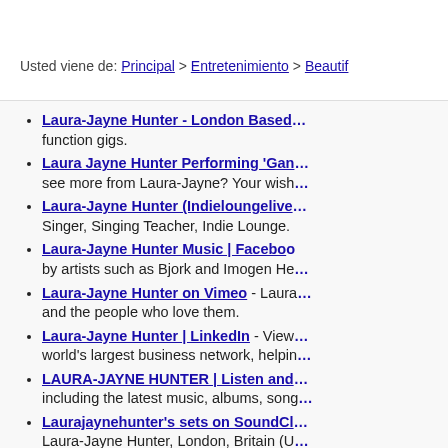Usted viene de: Principal > Entretenimiento > Beautif...
Laura-Jayne Hunter - London Based ... function gigs.
Laura Jayne Hunter Performing 'Gan... see more from Laura-Jayne? Your wish...
Laura-Jayne Hunter (Indieloungelive... Singer, Singing Teacher, Indie Lounge.
Laura-Jayne Hunter Music | Facebo... by artists such as Bjork and Imogen He...
Laura-Jayne Hunter on Vimeo - Laura... and the people who love them.
Laura-Jayne Hunter | LinkedIn - View... world's largest business network, helpin...
LAURA-JAYNE HUNTER | Listen and... including the latest music, albums, song...
Laurajaynehunter's sets on SoundCl... Laura-Jayne Hunter, London, Britain (U... Email ...
Laura Jayne Hunter Performing 'Gan... see more from Laura-Jayne? Your wish...
Laura-Jayne Hunter (Indieloungelive... Singer, Singing Teacher, Indie Lounge.
Laura-Jayne Hunter Music | Facebo...